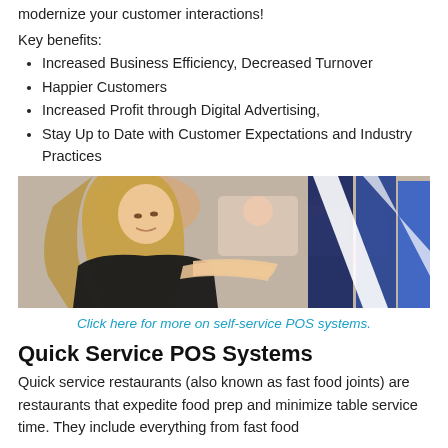modernize your customer interactions!
Key benefits:
Increased Business Efficiency, Decreased Turnover
Happier Customers
Increased Profit through Digital Advertising,
Stay Up to Date with Customer Expectations and Industry Practices
[Figure (photo): Woman with long blonde hair in black top touching a self-service POS kiosk screen, with blurred background of a shopping mall or transport hub]
Click here for more on self-service POS systems.
Quick Service POS Systems
Quick service restaurants (also known as fast food joints) are restaurants that expedite food prep and minimize table service time. They include everything from fast food